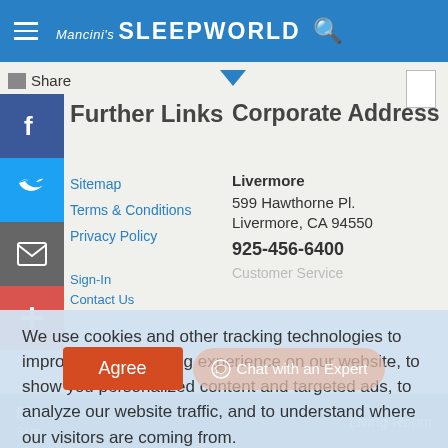Mancini's SLEEPWORLD
Share
Further Links
Corporate Address
Sitemap
Terms & Conditions
Privacy Policy
Livermore
599 Hawthorne Pl.
Livermore, CA 94550
925-456-6400
Customer Service
We use cookies and other tracking technologies to improve your browsing experience on our website, to show you personalized content and targeted ads, to analyze our website traffic, and to understand where our visitors are coming from.
Agree
Chat with an Expert
Mattresses
Size
Living Room